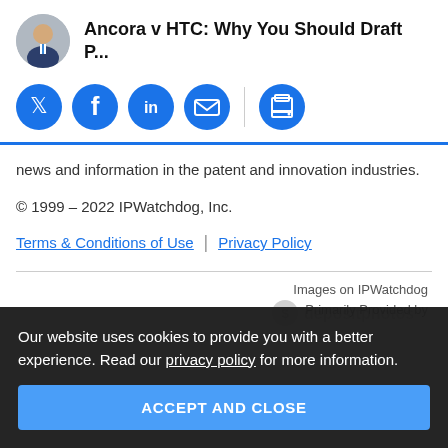Ancora v HTC: Why You Should Draft P...
[Figure (other): Circular avatar photo of a man in a suit]
[Figure (infographic): Social sharing icons: Twitter, Facebook, LinkedIn, Email (blue circles), and Print (blue circle), with a vertical divider between email and print]
news and information in the patent and innovation industries.
© 1999 – 2022 IPWatchdog, Inc.
Terms & Conditions of Use | Privacy Policy
Images on IPWatchdog
Primarily Provided by
[Figure (logo): Depositphotos watermark logo]
Our website uses cookies to provide you with a better experience. Read our privacy policy for more information.
ACCEPT AND CLOSE